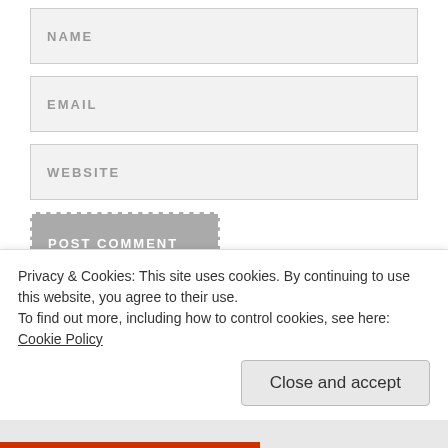NAME
EMAIL
WEBSITE
POST COMMENT
Notify me of new comments via email
Privacy & Cookies: This site uses cookies. By continuing to use this website, you agree to their use.
To find out more, including how to control cookies, see here: Cookie Policy
Close and accept